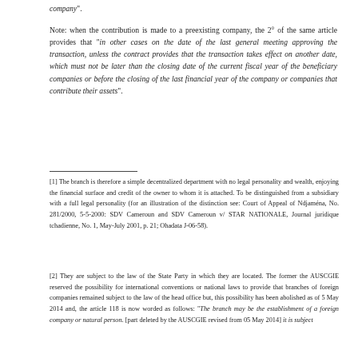company".
Note: when the contribution is made to a preexisting company, the 2° of the same article provides that "in other cases on the date of the last general meeting approving the transaction, unless the contract provides that the transaction takes effect on another date, which must not be later than the closing date of the current fiscal year of the beneficiary companies or before the closing of the last financial year of the company or companies that contribute their assets".
[1] The branch is therefore a simple decentralized department with no legal personality and wealth, enjoying the financial surface and credit of the owner to whom it is attached. To be distinguished from a subsidiary with a full legal personality (for an illustration of the distinction see: Court of Appeal of Ndjaména, No. 281/2000, 5-5-2000: SDV Cameroun and SDV Cameroun v/ STAR NATIONALE, Journal juridique tchadienne, No. 1, May-July 2001, p. 21; Ohadata J-06-58).
[2] They are subject to the law of the State Party in which they are located. The former the AUSCGIE reserved the possibility for international conventions or national laws to provide that branches of foreign companies remained subject to the law of the head office but, this possibility has been abolished as of 5 May 2014 and, the article 118 is now worded as follows: "The branch may be the establishment of a foreign company or natural person. [part deleted by the AUSCGIE revised from 05 May 2014] it is subject